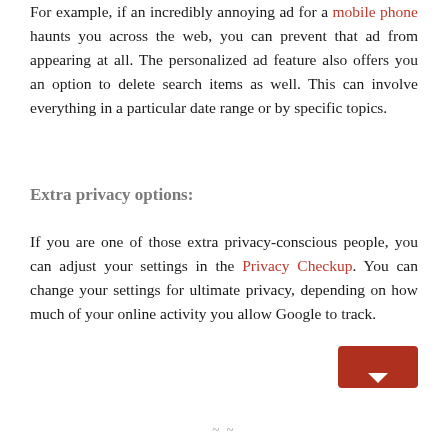For example, if an incredibly annoying ad for a mobile phone haunts you across the web, you can prevent that ad from appearing at all. The personalized ad feature also offers you an option to delete search items as well. This can involve everything in a particular date range or by specific topics.
Extra privacy options:
If you are one of those extra privacy-conscious people, you can adjust your settings in the Privacy Checkup. You can change your settings for ultimate privacy, depending on how much of your online activity you allow Google to track.